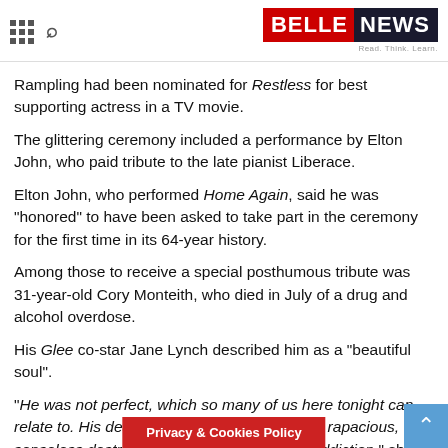BELLENEWS – Read. Think. Learn.
Rampling had been nominated for Restless for best supporting actress in a TV movie.
The glittering ceremony included a performance by Elton John, who paid tribute to the late pianist Liberace.
Elton John, who performed Home Again, said he was "honored" to have been asked to take part in the ceremony for the first time in its 64-year history.
Among those to receive a special posthumous tribute was 31-year-old Cory Monteith, who died in July of a drug and alcohol overdose.
His Glee co-star Jane Lynch described him as a "beautiful soul".
"He was not perfect, which so many of us here tonight can relate to. His death is a tragic reminder of the rapacious, senseless destruction that is brought on by addiction," she said.
Privacy & Cookies Policy